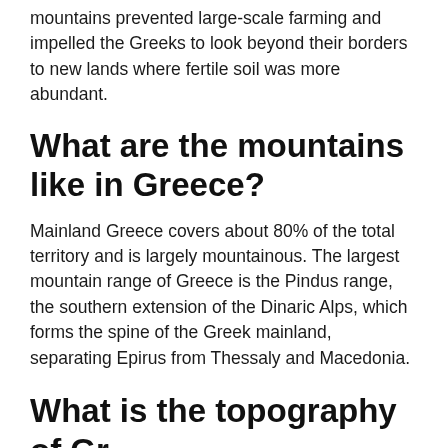mountains prevented large-scale farming and impelled the Greeks to look beyond their borders to new lands where fertile soil was more abundant.
What are the mountains like in Greece?
Mainland Greece covers about 80% of the total territory and is largely mountainous. The largest mountain range of Greece is the Pindus range, the southern extension of the Dinaric Alps, which forms the spine of the Greek mainland, separating Epirus from Thessaly and Macedonia.
What is the topography of Greece?